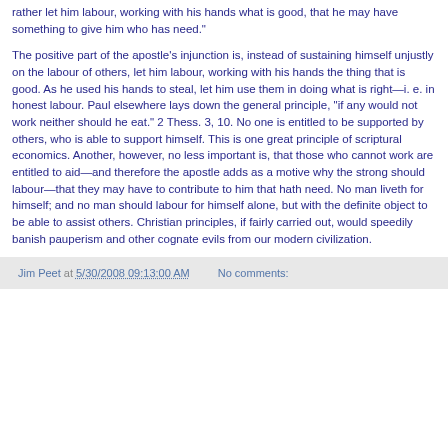rather let him labour, working with his hands what is good, that he may have something to give him who has need."
The positive part of the apostle’s injunction is, instead of sustaining himself unjustly on the labour of others, let him labour, working with his hands the thing that is good. As he used his hands to steal, let him use them in doing what is right—i. e. in honest labour. Paul elsewhere lays down the general principle, "if any would not work neither should he eat." 2 Thess. 3, 10. No one is entitled to be supported by others, who is able to support himself. This is one great principle of scriptural economics. Another, however, no less important is, that those who cannot work are entitled to aid—and therefore the apostle adds as a motive why the strong should labour—that they may have to contribute to him that hath need. No man liveth for himself; and no man should labour for himself alone, but with the definite object to be able to assist others. Christian principles, if fairly carried out, would speedily banish pauperism and other cognate evils from our modern civilization.
Jim Peet at 5/30/2008 09:13:00 AM   No comments: